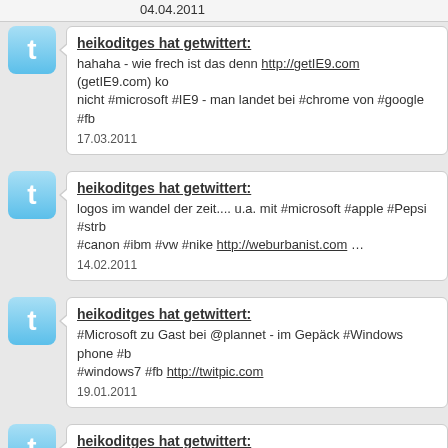04.04.2011
heikoditges hat getwittert:
hahaha - wie frech ist das denn http://getIE9.com (getIE9.com) ko nicht #microsoft #IE9 - man landet bei #chrome von #google #fb
17.03.2011
heikoditges hat getwittert:
logos im wandel der zeit.... u.a. mit #microsoft #apple #Pepsi #strb #canon #ibm #vw #nike http://weburbanist.com ...
14.02.2011
heikoditges hat getwittert:
#Microsoft zu Gast bei @plannet - im Gepäck #Windows phone #b #windows7 #fb http://twitpic.com
19.01.2011
heikoditges hat getwittert: